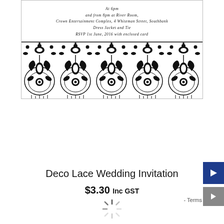[Figure (illustration): A wedding invitation card showing text at the top with event details (time, venue at River Room, Crown Entertainment Complex, 4 Whiteman Street, Southbank, Dress Jacket and Tie, RSVP 1st June 2016 with enclosed card), and a decorative black and white lace/damask pattern border at the bottom.]
Deco Lace Wedding Invitation
$3.30 Inc GST